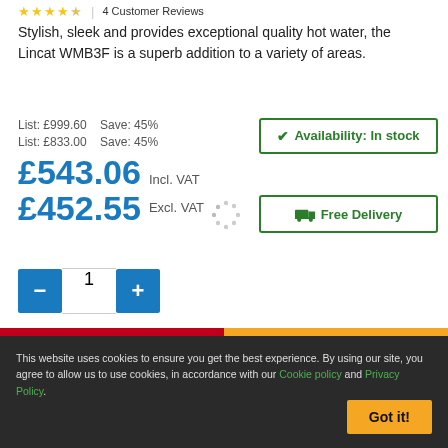★★★★☆  |  4 Customer Reviews
Stylish, sleek and provides exceptional quality hot water, the Lincat WMB3F is a superb addition to a variety of areas.
List: £999.60   Save: 45%
List: £833.00   Save: 45%
£543.06 Incl. VAT
£452.55 Excl. VAT
✔ Availability: In stock
🚚 Free Delivery
− 1 +
ADD TO BASKET
ADD TO QUOTE
This website uses cookies to ensure you get the best experience. By using our site, you agree to allow us to use cookies, in accordance with our Cookie policy and Privacy Policy.
Got it!